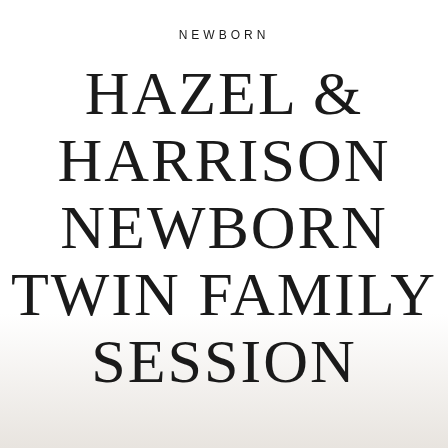NEWBORN
HAZEL & HARRISON NEWBORN TWIN FAMILY SESSION